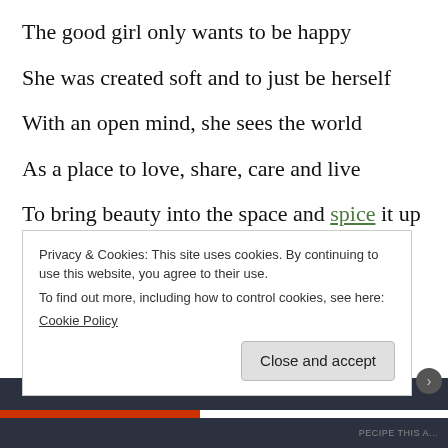The good girl only wants to be happy
She was created soft and to just be herself
With an open mind, she sees the world
As a place to love, share, care and live
To bring beauty into the space and spice it up
But of course she gets muddled up
Privacy & Cookies: This site uses cookies. By continuing to use this website, you agree to their use.
To find out more, including how to control cookies, see here:
Cookie Policy
Close and accept